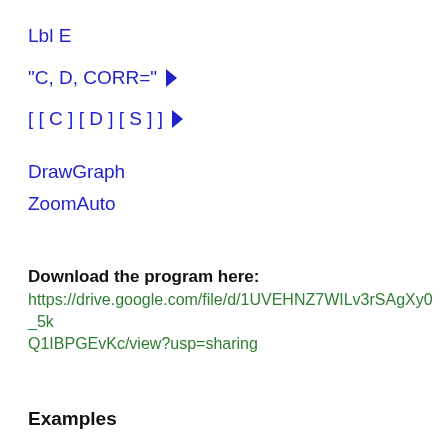Lbl E
"C, D, CORR=" ▲
[[C][D][S]] ▲
DrawGraph
ZoomAuto
Download the program here:
https://drive.google.com/file/d/1UVEHNZ7WILv3rSAgXy0_5kQ1IBPGEvKc/view?usp=sharing
Examples